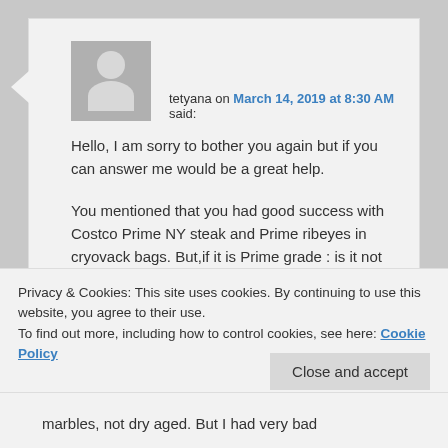tetyana on March 14, 2019 at 8:30 AM said:
Hello, I am sorry to bother you again but if you can answer me would be a great help.

You mentioned that you had good success with Costco Prime NY steak and Prime ribeyes in cryovack bags. But,if it is Prime grade : is it not dry aged?
Privacy & Cookies: This site uses cookies. By continuing to use this website, you agree to their use.
To find out more, including how to control cookies, see here: Cookie Policy
Close and accept
marbles, not dry aged. But I had very bad